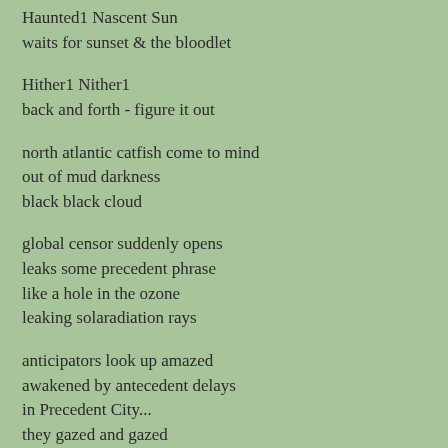Haunted1 Nascent Sun
waits for sunset & the bloodlet
Hither1 Nither1
back and forth - figure it out
north atlantic catfish come to mind
out of mud darkness
black black cloud
global censor suddenly opens
leaks some precedent phrase
like a hole in the ozone
leaking solaradiation rays
anticipators look up amazed
awakened by antecedent delays
in Precedent City...
they gazed and gazed
whole world thrown off!
foundation gone soft!